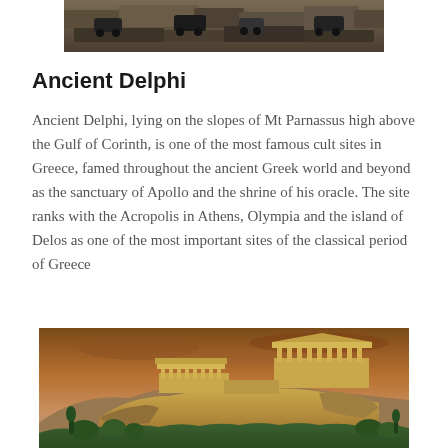[Figure (photo): Partial aerial or close-up photograph of ancient ruins, shown at the top of the page, cropped.]
Ancient Delphi
Ancient Delphi, lying on the slopes of Mt Parnassus high above the Gulf of Corinth, is one of the most famous cult sites in Greece, famed throughout the ancient Greek world and beyond as the sanctuary of Apollo and the shrine of his oracle. The site ranks with the Acropolis in Athens, Olympia and the island of Delos as one of the most important sites of the classical period of Greece
[Figure (photo): Photograph of the Acropolis of Athens with the Parthenon and Erechtheion visible on a rocky hill, dramatic orange-brown sky in the background.]